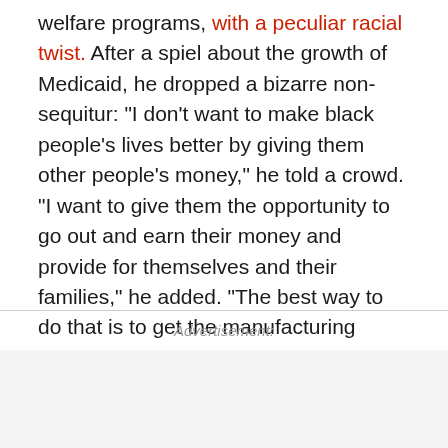welfare programs, with a peculiar racial twist. After a spiel about the growth of Medicaid, he dropped a bizarre non-sequitur: "I don't want to make black people's lives better by giving them other people's money," he told a crowd. "I want to give them the opportunity to go out and earn their money and provide for themselves and their families," he added. "The best way to do that is to get the manufacturing sector of the economy rolling."
Advertisement: